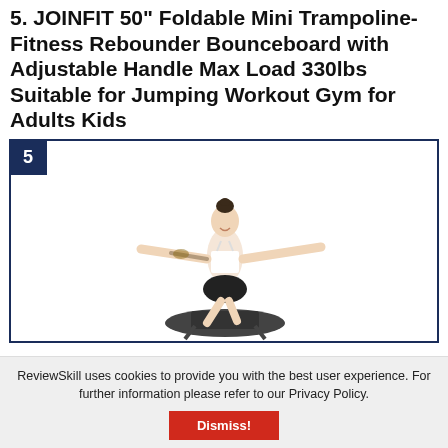5. JOINFIT 50" Foldable Mini Trampoline-Fitness Rebounder Bounceboard with Adjustable Handle Max Load 330lbs Suitable for Jumping Workout Gym for Adults Kids
[Figure (photo): Product listing card numbered 5, showing a woman with arms outstretched jumping on a mini trampoline/rebounder. The card has a dark navy blue border with a navy number badge '5' in the top-left corner.]
ReviewSkill uses cookies to provide you with the best user experience. For further information please refer to our Privacy Policy.
Dismiss!